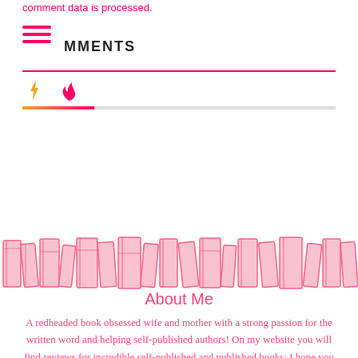comment data is processed.
MMENTS
[Figure (other): Hamburger menu icon with three horizontal pink lines]
[Figure (other): Lightning bolt icon (yellow/orange) and flame icon (pink/red)]
[Figure (other): Pink books banner decoration — row of illustrated book spines]
About Me
A redheaded book obsessed wife and mother with a strong passion for the written word and helping self-published authors! On my website you will find reviews for incredible self-published and published books; I hope you find your next